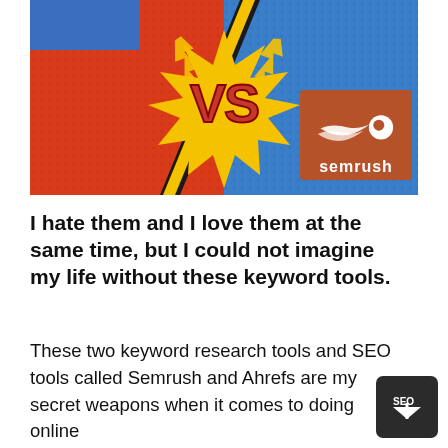[Figure (illustration): Colorful graphic showing 'vs' in comic book style on a starburst, set against a split red and blue halftone background. Left side is red/orange, right side is blue with a brown/terracotta SEMrush logo box featuring a comet/flame icon and the word 'semrush'. A blue rectangle in the top left partially visible.]
I hate them and I love them at the same time, but I could not imagine my life without these keyword tools.
These two keyword research tools and SEO tools called Semrush and Ahrefs are my secret weapons when it comes to doing online